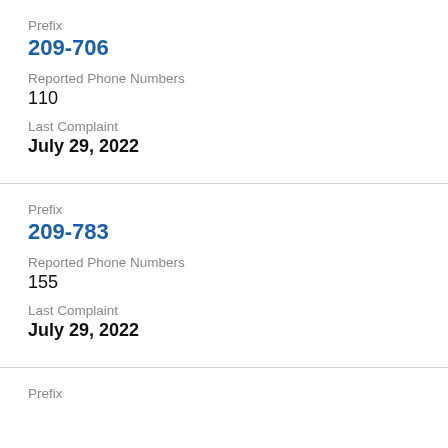Prefix
209-706
Reported Phone Numbers
110
Last Complaint
July 29, 2022
Prefix
209-783
Reported Phone Numbers
155
Last Complaint
July 29, 2022
Prefix